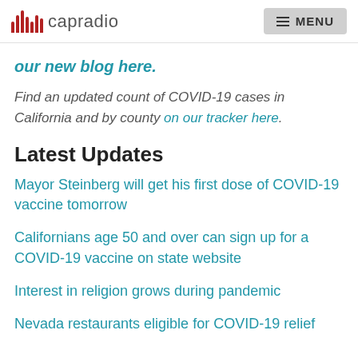capradio | MENU
our new blog here.
Find an updated count of COVID-19 cases in California and by county on our tracker here.
Latest Updates
Mayor Steinberg will get his first dose of COVID-19 vaccine tomorrow
Californians age 50 and over can sign up for a COVID-19 vaccine on state website
Interest in religion grows during pandemic
Nevada restaurants eligible for COVID-19 relief